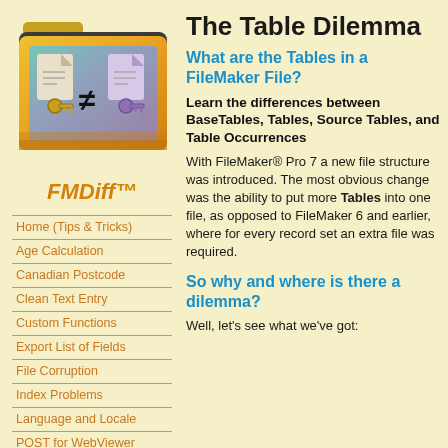[Figure (illustration): FMDiff folder icon with two file documents and not-equal symbol, colorful gradient folder]
FMDiff™
Home (Tips & Tricks)
Age Calculation
Canadian Postcode
Clean Text Entry
Custom Functions
Export List of Fields
File Corruption
Index Problems
Language and Locale
POST for WebViewer
Print Trouble
Printer Crash
The Table Dilemma
What are the Tables in a FileMaker File?
Learn the differences between BaseTables, Tables, Source Tables, and Table Occurrences
With FileMaker® Pro 7 a new file structure was introduced. The most obvious change was the ability to put more Tables into one file, as opposed to FileMaker 6 and earlier, where for every record set an extra file was required.
So why and where is there a dilemma?
Well, let's see what we've got: